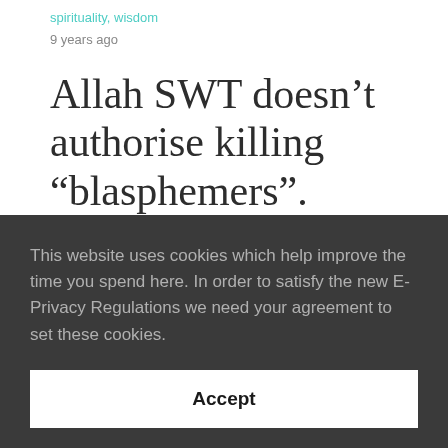spirituality, wisdom
9 years ago
Allah SWT doesn't authorise killing “blasphemers”.
This website uses cookies which help improve the time you spend here. In order to satisfy the new E-Privacy Regulations we need your agreement to set these cookies.
Accept